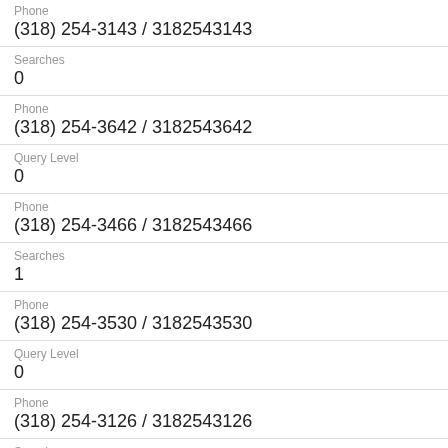Phone
(318) 254-3143 / 3182543143
Searches
0
Phone
(318) 254-3642 / 3182543642
Query Level
0
Phone
(318) 254-3466 / 3182543466
Searches
1
Phone
(318) 254-3530 / 3182543530
Query Level
0
Phone
(318) 254-3126 / 3182543126
Searches